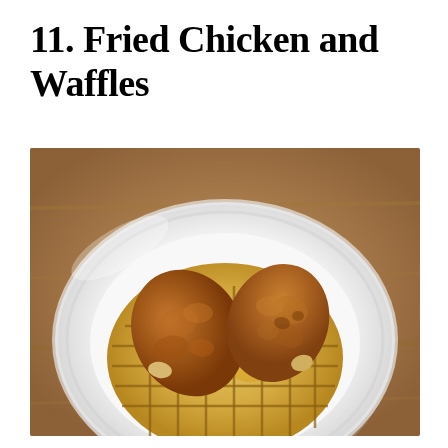11. Fried Chicken and Waffles
[Figure (photo): A white plate with a round golden-brown waffle topped with two pieces of crispy fried chicken (drumsticks), drizzled with syrup, on a wooden table background.]